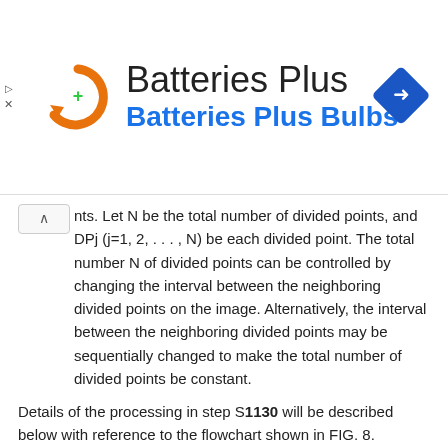[Figure (logo): Batteries Plus Bulbs advertisement banner with orange circular arrow logo, blue navigation diamond icon, and ad controls]
nts. Let N be the total number of divided points, and DPj (j=1, 2, . . . , N) be each divided point. The total number N of divided points can be controlled by changing the interval between the neighboring divided points on the image. Alternatively, the interval between the neighboring divided points may be sequentially changed to make the total number of divided points be constant.
Details of the processing in step S1130 will be described below with reference to the flowchart shown in FIG. 8.
In step S1210, the position and orientation calculation unit 130 initializes a variable j to 1.
The position and orientation calculation unit 130 determines in step S1220 if the divided point DPj is occluded. More specifically, when the divided point DPj is occluded behind another plane of the virtual object, i.e., when it is a divided point on the broken line shown in FIG. 7, the divided point DPj is invisible. Whether or not the divided point DPj is visible can be determined by rendering this divided point after the virtual object is rendered using